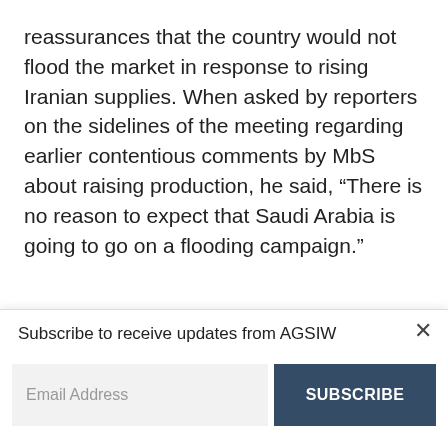reassurances that the country would not flood the market in response to rising Iranian supplies. When asked by reporters on the sidelines of the meeting regarding earlier contentious comments by MbS about raising production, he said, “There is no reason to expect that Saudi Arabia is going to go on a flooding campaign.”
Falih’s constructive tone notwithstanding, the
Subscribe to receive updates from AGSIW
Email Address
SUBSCRIBE